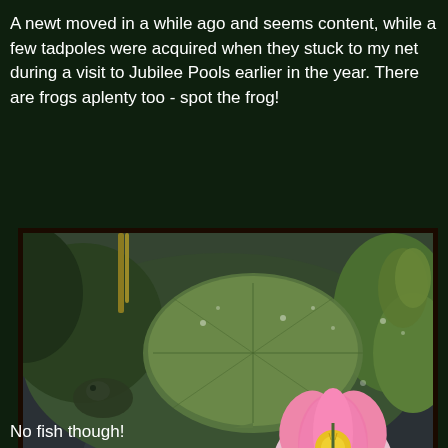A newt moved in a while ago and seems content, while a few tadpoles were acquired when they stuck to my net during a visit to Jubilee Pools earlier in the year. There are frogs aplenty too - spot the frog!
[Figure (photo): A pond scene photographed from above showing lily pads, a pink water lily flower, aquatic moss and plants, and what appears to be a frog hidden among the vegetation, with water reflections visible.]
No fish though!